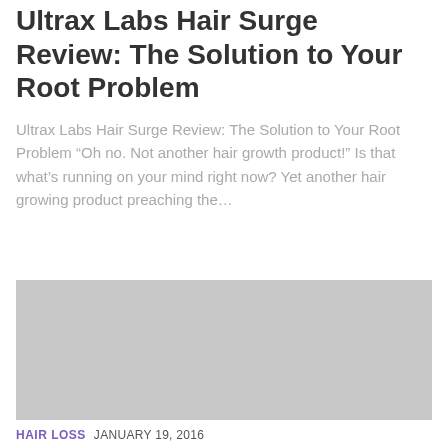Ultrax Labs Hair Surge Review: The Solution to Your Root Problem
Ultrax Labs Hair Surge Review: The Solution to Your Root Problem “Oh no. Not another hair growth product!” Is that what’s running on your mind right now? Yet another hair growing product preaching the…
[Figure (photo): Gray placeholder image block]
HAIR LOSS  JANUARY 19, 2016